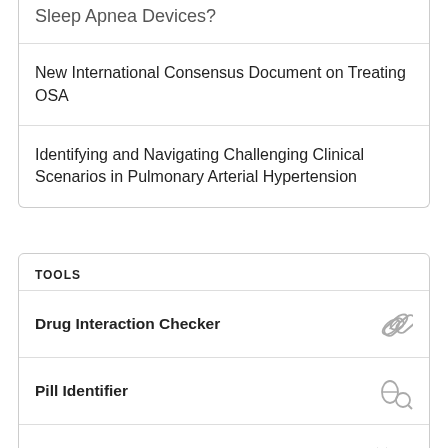Sleep Apnea Devices?
New International Consensus Document on Treating OSA
Identifying and Navigating Challenging Clinical Scenarios in Pulmonary Arterial Hypertension
TOOLS
Drug Interaction Checker
Pill Identifier
Calculators
Formulary